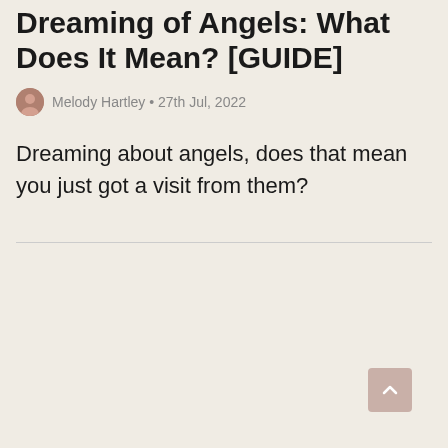Dreaming of Angels: What Does It Mean? [GUIDE]
Melody Hartley • 27th Jul, 2022
Dreaming about angels, does that mean you just got a visit from them?